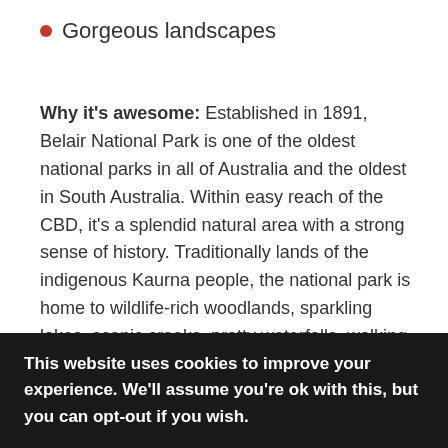Gorgeous landscapes
Why it's awesome: Established in 1891, Belair National Park is one of the oldest national parks in all of Australia and the oldest in South Australia. Within easy reach of the CBD, it's a splendid natural area with a strong sense of history. Traditionally lands of the indigenous Kaurna people, the national park is home to wildlife-rich woodlands, sparkling lakes, scenic creeks, pretty waterfalls, walking trails, and an abundance of flora and fauna. There are also various leisure, sporting, and recreational facilities too. It's also a great place to visit with your family if you're
This website uses cookies to improve your experience. We'll assume you're ok with this, but you can opt-out if you wish.